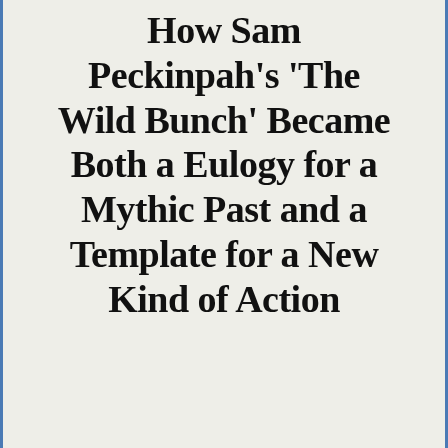How Sam Peckinpah's 'The Wild Bunch' Became Both a Eulogy for a Mythic Past and a Template for a New Kind of Action